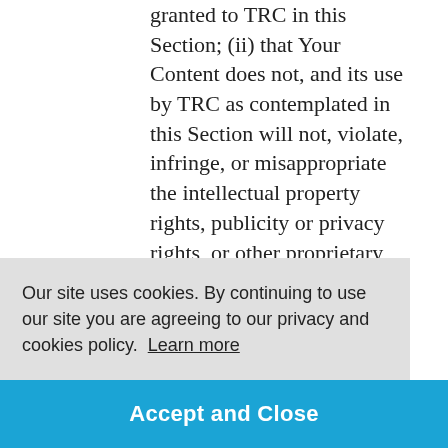granted to TRC in this Section; (ii) that Your Content does not, and its use by TRC as contemplated in this Section will not, violate, infringe, or misappropriate the intellectual property rights, publicity or privacy rights, or other proprietary rights of any third party; and (iii) that there are no claims currently pending or threatened as to your ownership of or rights in Your Content, or as to your violation, infringement or misappropriation of any third party intellectual property rights, publicity or privacy rights, or
Our site uses cookies. By continuing to use our site you are agreeing to our privacy and cookies policy. Learn more
ot ult in
Accept and Close
tion 2.2.11 above, TRC may, without limiting its rights